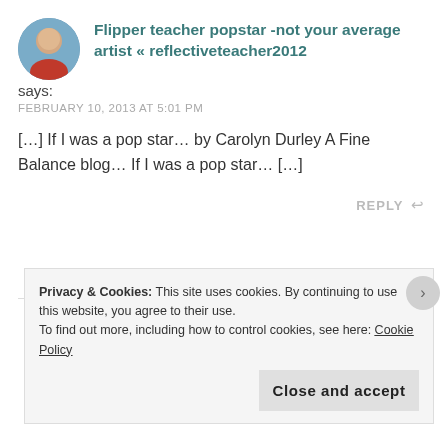Flipper teacher popstar -not your average artist « reflectiveteacher2012
says:
FEBRUARY 10, 2013 AT 5:01 PM
[…] If I was a pop star… by Carolyn Durley A Fine Balance blog… If I was a pop star… […]
REPLY
Privacy & Cookies: This site uses cookies. By continuing to use this website, you agree to their use.
To find out more, including how to control cookies, see here: Cookie Policy
Close and accept